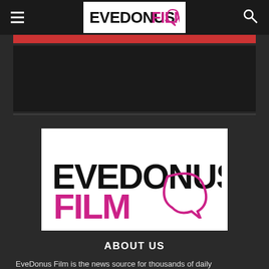EVEDONUS FILM
[Figure (logo): EveDonus Film logo — EVEDONUS in black bold uppercase, FILM in magenta/pink bold uppercase, followed by a speech bubble arc in magenta]
ABOUT US
EveDonus Film is the news source for thousands of daily